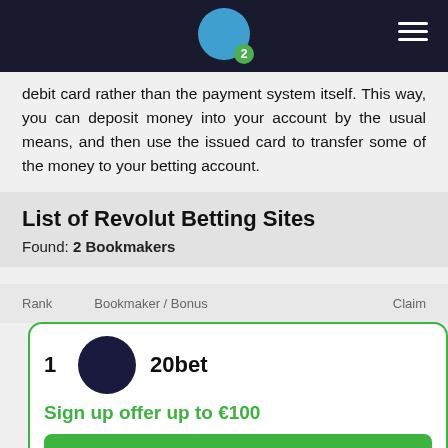Navigation bar with logo (circle with badge '2') and hamburger menu
debit card rather than the payment system itself. This way, you can deposit money into your account by the usual means, and then use the issued card to transfer some of the money to your betting account.
List of Revolut Betting Sites
Found: 2 Bookmakers
| Rank | Bookmaker / Bonus | Claim |
| --- | --- | --- |
1  20bet
Sign up offer up to €100
BET WITH REVOLUT
Go to 20bet website